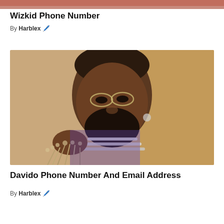[Figure (photo): Partial top strip of a person wearing red clothing, cropped at top of page]
Wizkid Phone Number
By Harblex 🖊️
[Figure (photo): Portrait photo of Davido, a man wearing small oval glasses, layered chain necklaces, a patterned shirt under a tan coat, holding dried flowers, against a tan/beige background]
Davido Phone Number And Email Address
By Harblex 🖊️